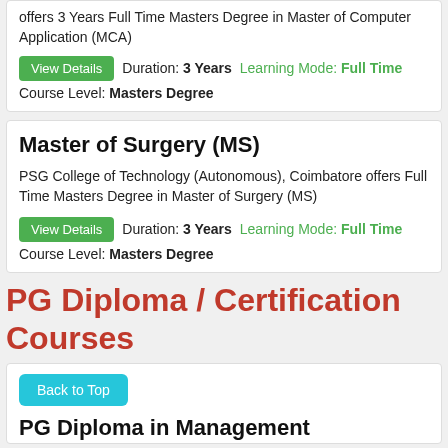offers 3 Years Full Time Masters Degree in Master of Computer Application (MCA)
Duration: 3 Years   Learning Mode: Full Time
Course Level: Masters Degree
Master of Surgery (MS)
PSG College of Technology (Autonomous), Coimbatore offers Full Time Masters Degree in Master of Surgery (MS)
Duration: 3 Years   Learning Mode: Full Time
Course Level: Masters Degree
PG Diploma / Certification Courses
Back to Top
PG Diploma in Management